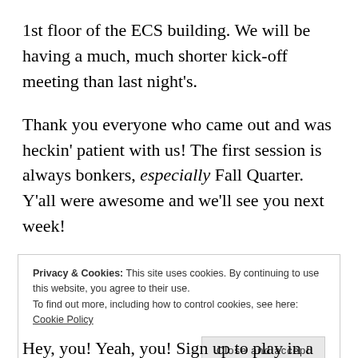1st floor of the ECS building. We will be having a much, much shorter kick-off meeting than last night's.
Thank you everyone who came out and was heckin' patient with us! The first session is always bonkers, especially Fall Quarter. Y'all were awesome and we'll see you next week!
Privacy & Cookies: This site uses cookies. By continuing to use this website, you agree to their use.
To find out more, including how to control cookies, see here: Cookie Policy
Hey, you! Yeah, you! Sign up to play in a campaign in